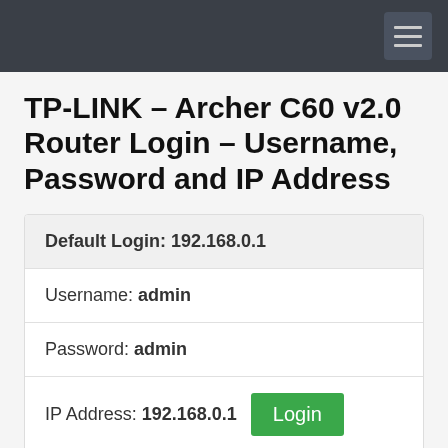Navigation bar with hamburger menu
TP-LINK – Archer C60 v2.0 Router Login – Username, Password and IP Address
| Field | Value |
| --- | --- |
| Default Login: | 192.168.0.1 |
| Username: | admin |
| Password: | admin |
| IP Address: | 192.168.0.1 |
Default IP for Archer C60 v2.0